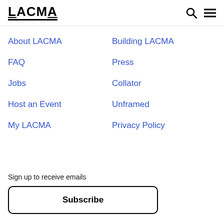LACMA
About LACMA
Building LACMA
FAQ
Press
Jobs
Collator
Host an Event
Unframed
My LACMA
Privacy Policy
Sign up to receive emails
Subscribe